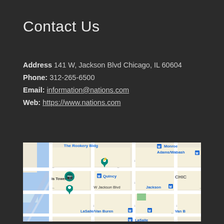Contact Us
Address 141 W, Jackson Blvd Chicago, IL 60604
Phone: 312-265-6500
Email: information@nations.com
Web: https://www.nations.com
[Figure (map): Google Maps view of W Jackson Blvd, Chicago, IL 60604 area, showing The Rookery Bldg, Monroe, Adams/Wabash M, Willis Tower, Quincy M, Jackson M, LaSalle/Van Buren M, LaSalle M, and surrounding city blocks.]